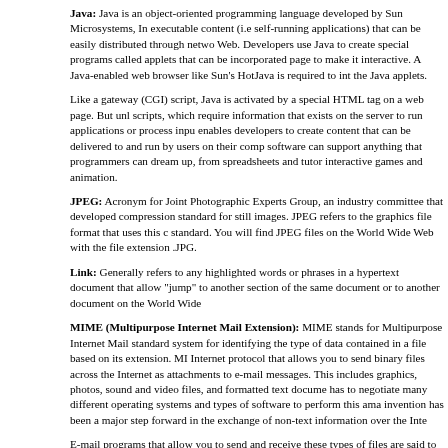Java: Java is an object-oriented programming language developed by Sun Microsystems, Inc. that allows executable content (i.e self-running applications) that can be easily distributed through networks like the Web. Developers use Java to create special programs called applets that can be incorporated into a web page to make it interactive. A Java-enabled web browser like Sun's HotJava is required to interpret the Java applets.
Like a gateway (CGI) script, Java is activated by a special HTML tag on a web page. But unlike CGI scripts, which require information that exists on the server to run applications or process input, Java enables developers to create content that can be delivered to and run by users on their computers. Java software can support anything that programmers can dream up, from spreadsheets and tutorials to interactive games and animation.
JPEG: Acronym for Joint Photographic Experts Group, an industry committee that developed a compression standard for still images. JPEG refers to the graphics file format that uses this compression standard. You will find JPEG files on the World Wide Web with the file extension .JPG.
Link: Generally refers to any highlighted words or phrases in a hypertext document that allow users to "jump" to another section of the same document or to another document on the World Wide Web.
MIME (Multipurpose Internet Mail Extension): MIME stands for Multipurpose Internet Mail Extension. A standard system for identifying the type of data contained in a file based on its extension. MIME is an Internet protocol that allows you to send binary files across the Internet as attachments to e-mail messages. This includes graphics, photos, sound and video files, and formatted text documents. Since it has to negotiate many different operating systems and types of software to perform this amazing feat, its invention has been a major step forward in the exchange of non-text information over the Internet.
E-mail programs that allow you to send and receive these types of files are said to be MIME-compliant. Many of these programs now incorporate MIME and have made it practically invisible to the user. You are probably using MIME when you send e-mail with an "attachment" of a formatted file. If not, then your program is using something very similar called UUencoding and UUdecoding to achieve the same result.
Mirror: An FTP server that provides copies of the same files as another server. Used when a server becomes so popular that the volume of users accessing it keeps others from getting through. A mirror site provides an alternate way to access the same files.
Navigation Tools: Navigation tools allow users to find their way around a website or multimedia presentation. They can be hypertext links, clickable buttons, icons, or image maps. Navigation tools are usually present either at the bottom or top (sometimes both) of each page or screen and typically allow users to return to the previous page, move forward to the next page, jump to the top of the current page and return to the home page.